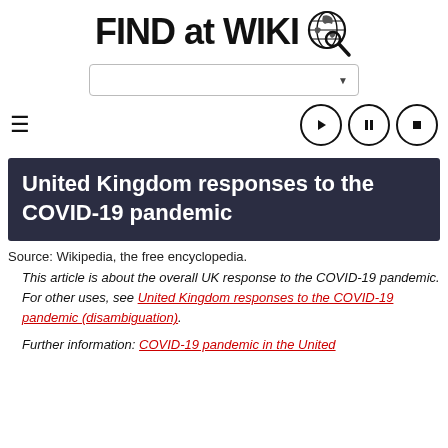[Figure (logo): FIND at WIKI logo with globe and magnifying glass icon]
[Figure (screenshot): Search bar input with dropdown arrow]
[Figure (screenshot): Navigation bar with hamburger menu and media control buttons (play, pause, stop)]
United Kingdom responses to the COVID-19 pandemic
Source: Wikipedia, the free encyclopedia.
This article is about the overall UK response to the COVID-19 pandemic. For other uses, see United Kingdom responses to the COVID-19 pandemic (disambiguation).
Further information: COVID-19 pandemic in the United